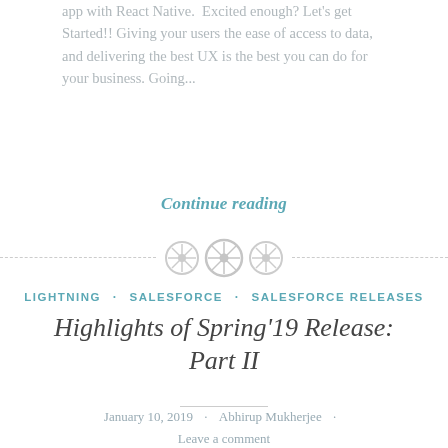app with React Native. Excited enough? Let's get Started!! Giving your users the ease of access to data, and delivering the best UX is the best you can do for your business. Going...
Continue reading
[Figure (other): Decorative horizontal divider with three circular button-like icons centered between dashed lines]
LIGHTNING · SALESFORCE · SALESFORCE RELEASES
Highlights of Spring'19 Release: Part II
January 10, 2019 · Abhirup Mukherjee · Leave a comment
Hello Ohana!! This very article takes you up through the